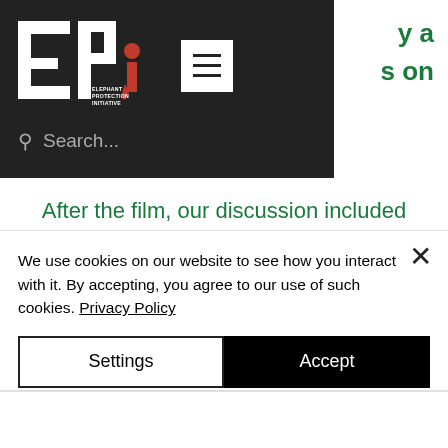[Figure (logo): Elephant Protection Initiative (EPI) logo — stylized letters E and P with a red abstract elephant figure, with text 'ELEPHANT PROTECTION INITIATIVE']
y a
s on
Search...
After the film, our discussion included VIP guests and experts from across Africa.
In English, with simultaneous translation in French and Portuguese.
We use cookies on our website to see how you interact with it. By accepting, you agree to our use of such cookies. Privacy Policy
Settings
Accept